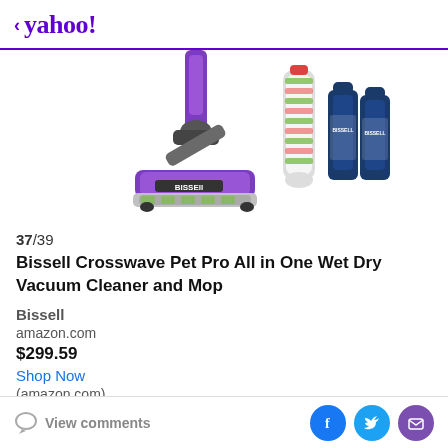< yahoo!
[Figure (photo): Bissell Crosswave Pet Pro vacuum cleaner and mop product image with accessories (roller brush and cleaning solution bottles)]
37/39
Bissell Crosswave Pet Pro All in One Wet Dry Vacuum Cleaner and Mop
Bissell
amazon.com
$299.59
Shop Now
(amazon.com)
View comments | social share icons (Facebook, Twitter, Email)